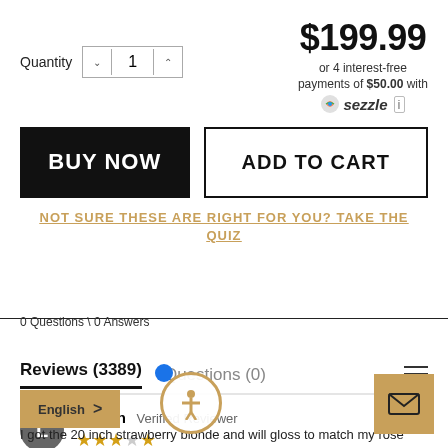Quantity  1
$199.99
or 4 interest-free payments of $50.00 with Sezzle
BUY NOW
ADD TO CART
NOT SURE THESE ARE RIGHT FOR YOU? TAKE THE QUIZ
0 Questions \ 0 Answers
Reviews (3389)   Questions (0)
Lauren  Verified Reviewer
I got the 20 inch strawberry blonde and will gloss to match my rose